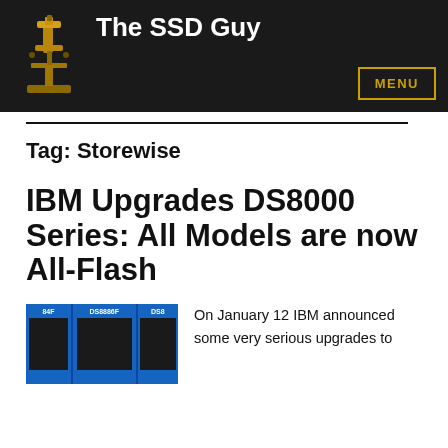The SSD Guy
Tag: Storewise
IBM Upgrades DS8000 Series: All Models are now All-Flash
[Figure (photo): Product image showing IBM DS8000 series storage units including DS884F, DS8886F, and DS8 models in blue enclosures]
On January 12 IBM announced some very serious upgrades to